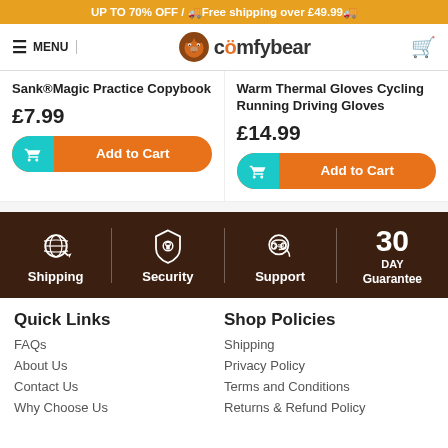UP TO 70% OFF / 🚚Free shipping over £49.99🚚
[Figure (logo): ComfyBear logo with bear mascot and navigation menu bar]
Sank®Magic Practice Copybook
£7.99
Add to Cart
Warm Thermal Gloves Cycling Running Driving Gloves
£14.99
Add to Cart
[Figure (infographic): Trust bar with Shipping, Security, Support, and 30 Day Guarantee icons on dark brown background]
Quick Links
FAQs
About Us
Contact Us
Why Choose Us
Shop Policies
Shipping
Privacy Policy
Terms and Conditions
Returns & Refund Policy